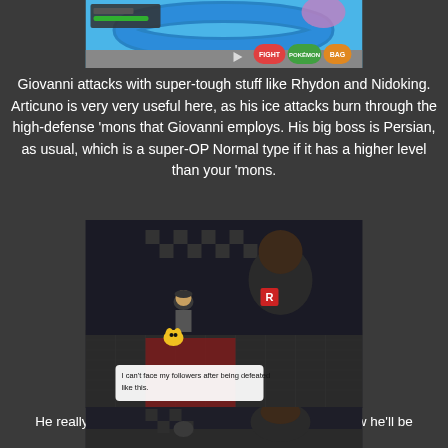[Figure (screenshot): Pokemon game battle screenshot showing gameplay with blue track/path, UI elements including FIGHT, POKEMON, BAG buttons, and health bar]
Giovanni attacks with super-tough stuff like Rhydon and Nidoking. Articuno is very very useful here, as his ice attacks burn through the high-defense 'mons that Giovanni employs. His big boss is Persian, as usual, which is a super-OP Normal type if it has a higher level than your 'mons.
[Figure (screenshot): Pokemon game scene showing player character with Pikachu facing Giovanni (a large man in dark Team Rocket uniform with R logo). Dialog box reads: 'I can't face my followers after being defeated like this.']
He really IS Vegeta. He's ashamed of his loss, and now he'll be mocked by Kuei. KUEI.
[Figure (screenshot): Pokemon game scene showing player character with Pikachu and Giovanni, partial view]